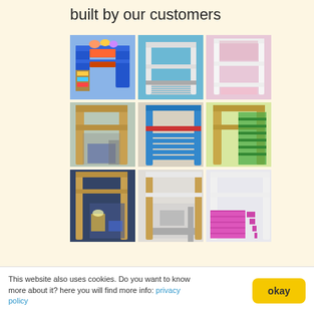built by our customers
[Figure (photo): 3x3 grid of customer photos showing various bunk beds and loft beds built by customers. Row 1: blue loft bed with toy shelves, blue bunk bed frame, white bunk bed frame with pink room. Row 2: natural wood loft bed with workspace below, blue and red loft bed with shelves, wood loft bed with green shelving unit. Row 3: loft bed with desk/workspace below in dark room, loft bed with workspace and storage, white loft bed with pink/purple shelving stairs.]
This website also uses cookies. Do you want to know more about it? here you will find more info: privacy policy